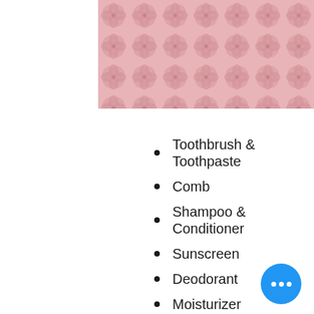[Figure (photo): Pink laser-cut floral pattern travel bag or wallet, showing geometric flower cutout design on pink material]
Toothbrush & Toothpaste
Comb
Shampoo & Conditioner
Sunscreen
Deodorant
Moisturizer
Lip-Balm
Personal Hygiene Items
Facewash
Face wipes